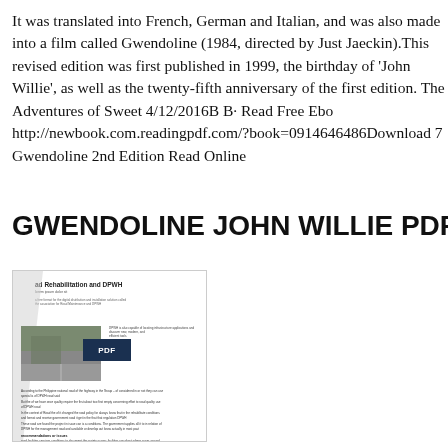It was translated into French, German and Italian, and was also made into a film called Gwendoline (1984, directed by Just Jaeckin).This revised edition was first published in 1999, the birthday of 'John Willie', as well as the twenty-fifth anniversary of the first edition. The Adventures of Sweet 4/12/2016B B· Read Free Ebo http://newbook.com.readingpdf.com/?book=0914646486Download 7 Gwendoline 2nd Edition Read Online
GWENDOLINE JOHN WILLIE PDF blackbe
[Figure (screenshot): Screenshot of a PDF document page titled 'Road Rehabilitation and DPWH' with a dark blue PDF badge overlay, showing text columns and an image of a road/construction scene.]